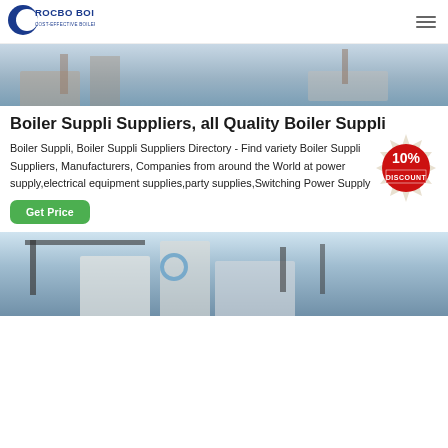[Figure (logo): Rocbo Boiler logo - blue crescent with text ROCBO BOILER and subtitle COST-EFFECTIVE BOILER SUPPLIER]
[Figure (photo): Top portion of a boiler/industrial equipment image, partially cropped]
Boiler Suppli Suppliers, all Quality Boiler Suppli
Boiler Suppli, Boiler Suppli Suppliers Directory - Find variety Boiler Suppli Suppliers, Manufacturers, Companies from around the World at power supply,electrical equipment supplies,party supplies,Switching Power Supply
[Figure (illustration): 10% DISCOUNT badge/seal in red and white]
[Figure (photo): Industrial boiler equipment outdoors against blue sky, showing pipes and machinery]